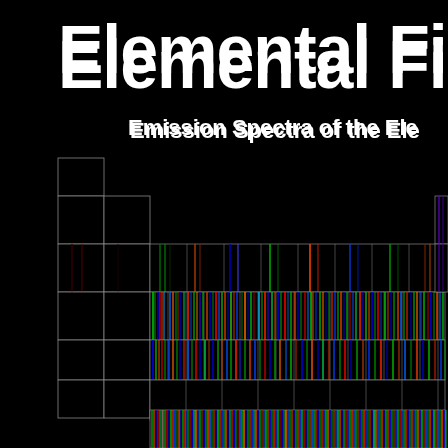Elemental Finge…
Emission Spectra of the Ele…
[Figure (infographic): Partial view of a periodic table styled infographic showing emission spectra of elements as colored spectral lines on black backgrounds within grid cells. The top-left shows the alkali metals and alkaline earth metals columns with spectral bars. The main body shows rows of elements with colorful emission spectra — bright greens, blues, reds, oranges against black. Bottom portion shows a row of lanthanides/actinides with dense multicolored spectral lines.]